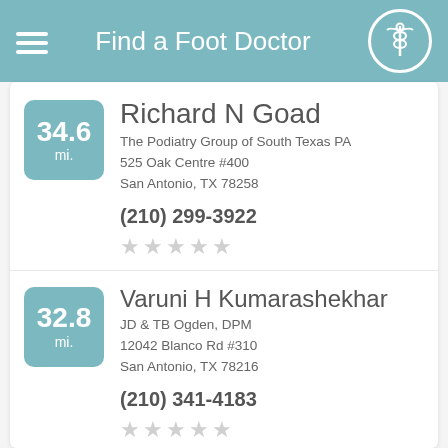Find a Foot Doctor
Richard N Goad
The Podiatry Group of South Texas PA
525 Oak Centre #400
San Antonio, TX 78258
(210) 299-3922
Varuni H Kumarashekhar
JD & TB Ogden, DPM
12042 Blanco Rd #310
San Antonio, TX 78216
(210) 341-4183